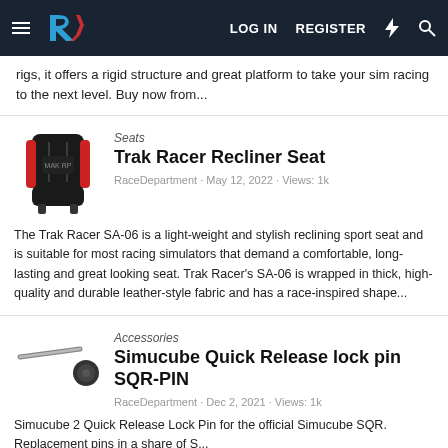LOG IN  REGISTER
rigs, it offers a rigid structure and great platform to take your sim racing to the next level. Buy now from...
[Figure (photo): Black and red racing seat (Trak Racer SA-06) product photo]
Seats
Trak Racer Recliner Seat
RaceDepartment · May 12, 2022 · Views: 1k
The Trak Racer SA-06 is a light-weight and stylish reclining sport seat and is suitable for most racing simulators that demand a comfortable, long-lasting and great looking seat. Trak Racer's SA-06 is wrapped in thick, high-quality and durable leather-style fabric and has a race-inspired shape...
[Figure (photo): Simucube quick release lock pin SQR-PIN product photo]
Accessories
Simucube Quick Release lock pin SQR-PIN
RaceDepartment · Dec 2, 2021 · Views: 1k
Simucube 2 Quick Release Lock Pin for the official Simucube SQR. Replacement pins in a share of S...